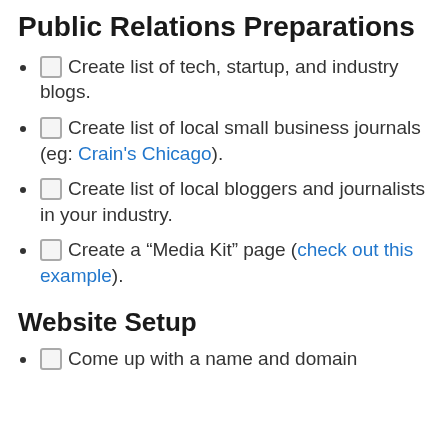Public Relations Preparations
Create list of tech, startup, and industry blogs.
Create list of local small business journals (eg: Crain's Chicago).
Create list of local bloggers and journalists in your industry.
Create a "Media Kit" page (check out this example).
Website Setup
Come up with a name and domain